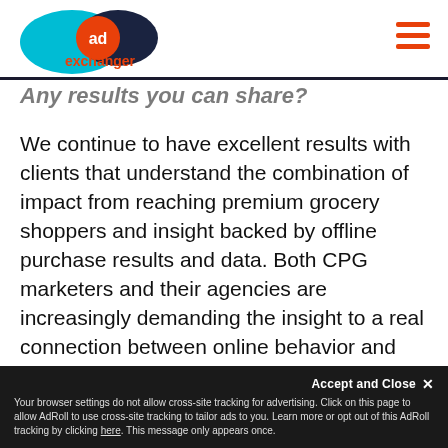AdExchanger logo and navigation
Any results you can share?
We continue to have excellent results with clients that understand the combination of impact from reaching premium grocery shoppers and insight backed by offline purchase results and data. Both CPG marketers and their agencies are increasingly demanding the insight to a real connection between online behavior and offline sales – and we're delivering on this. For promotional efforts and shopper marketing programs – we're seeing a reaction to the realization that grocery shoppers need to be influenced prior to entering the store, and what's being said about it for extending
Accept and Close ✕ Your browser settings do not allow cross-site tracking for advertising. Click on this page to allow AdRoll to use cross-site tracking to tailor ads to you. Learn more or opt out of this AdRoll tracking by clicking here. This message only appears once.